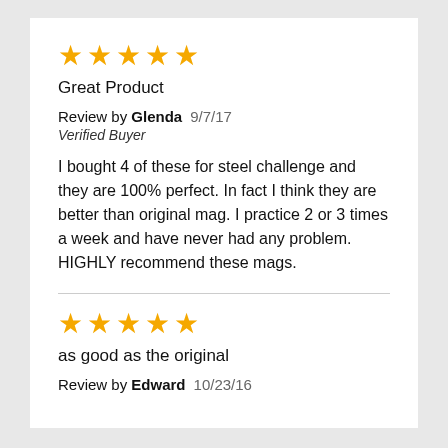[Figure (other): 5 gold stars rating]
Great Product
Review by Glenda   9/7/17
Verified Buyer
I bought 4 of these for steel challenge and they are 100% perfect. In fact I think they are better than original mag. I practice 2 or 3 times a week and have never had any problem. HIGHLY recommend these mags.
[Figure (other): 5 gold stars rating]
as good as the original
Review by Edward   10/23/16